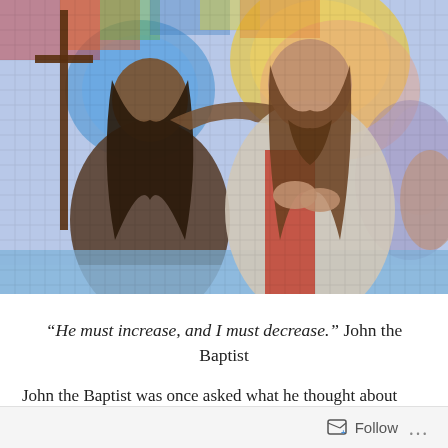[Figure (illustration): A colorful mosaic artwork depicting two figures: John the Baptist (left, with long dark hair, holding a cross staff, placing hand on the head of the other figure) and Jesus (right, with beard, hands clasped in prayer pose), with blue halos and swirling golden and multicolored mosaic tile background.]
“He must increase, and I must decrease.” John the Baptist
John the Baptist was once asked what he thought about Jesus baptizing and attracting crowds. That was John’s ministry, and now this new guy was